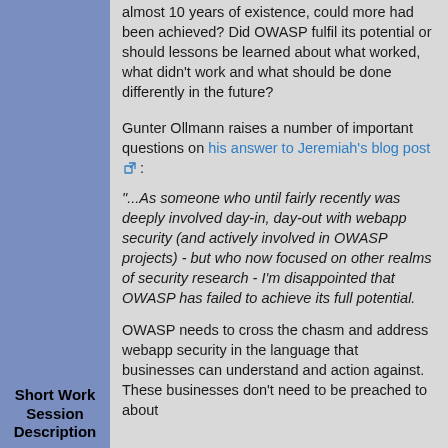almost 10 years of existence, could more had been achieved? Did OWASP fulfil its potential or should lessons be learned about what worked, what didn't work and what should be done differently in the future?
Gunter Ollmann raises a number of important questions on his answer to Jeremiah's blog post :
"...As someone who until fairly recently was deeply involved day-in, day-out with webapp security (and actively involved in OWASP projects) - but who now focused on other realms of security research - I'm disappointed that OWASP has failed to achieve its full potential.
OWASP needs to cross the chasm and address webapp security in the language that businesses can understand and action against. These businesses don't need to be preached to about
Short Work Session Description